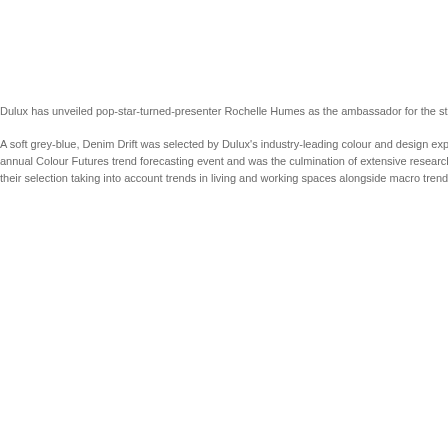Dulux has unveiled pop-star-turned-presenter Rochelle Humes as the ambassador for the stun
A soft grey-blue, Denim Drift was selected by Dulux's industry-leading colour and design exp annual Colour Futures trend forecasting event and was the culmination of extensive research their selection taking into account trends in living and working spaces alongside macro trends